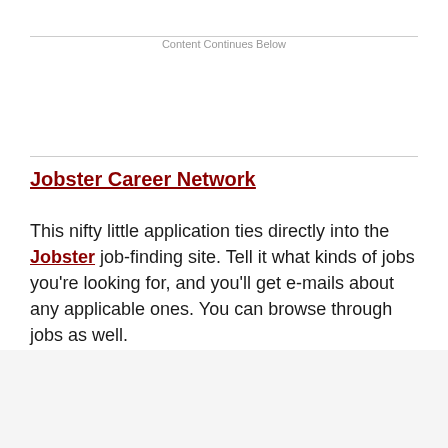Content Continues Below
Jobster Career Network
This nifty little application ties directly into the Jobster job-finding site. Tell it what kinds of jobs you're looking for, and you'll get e-mails about any applicable ones. You can browse through jobs as well.
[Figure (illustration): A sorry sloth illustration with text 'We're sorry. This image is no longer available.']